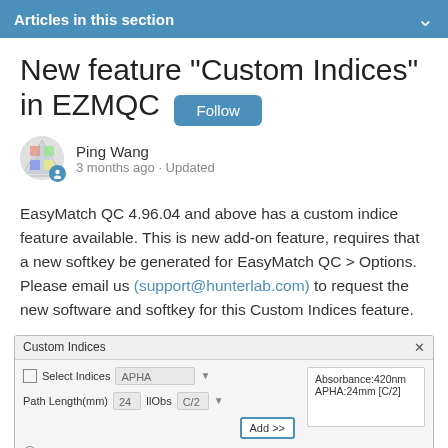Articles in this section
New feature "Custom Indices" in EZMQC
Ping Wang
3 months ago · Updated
EasyMatch QC 4.96.04 and above has a custom indice feature available. This is new add-on feature, requires that a new softkey be generated for EasyMatch QC > Options. Please email us (support@hunterlab.com) to request the new software and softkey for this Custom Indices feature.
[Figure (screenshot): Custom Indices dialog box showing Select Indices dropdown set to APHA, Path Length(mm) field with value 24, IlObs dropdown set to C/2, Add >> button, and a results panel showing 'Absorbance:420nm APHA:24mm [C/2]']